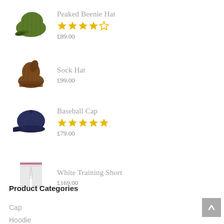Peaked Beenie Hat, 4 stars out of 5, £89.00
Sock Hat, £99.00
Baseball Cap, 5 stars out of 5, £79.00
White Training Short, £169.00
Product Categories
Cap 3
Hoodie 2